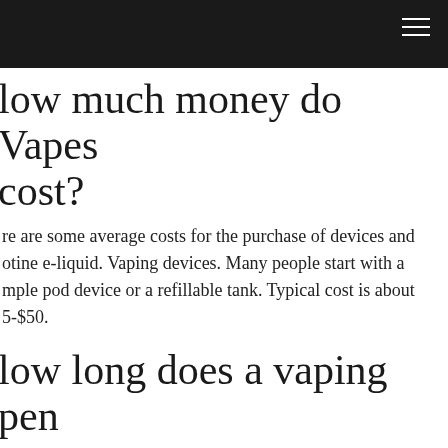How much money do Vapes cost?
re are some average costs for the purchase of devices and otine e-liquid. Vaping devices. Many people start with a mple pod device or a refillable tank. Typical cost is about 5-$50.
How long does a vaping pen last?
tz said that an Evoxe vape pen lasted 150 x one second ffs which typically equates to three days of constant usage. also claimed that some sporadic users enjoyed three onths of use from a single disposable; outstanding value re! Evoxe has a number of new products that are almost ndy to hit the shelves.